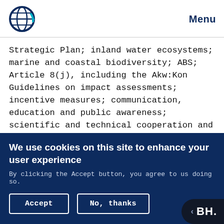Menu
Strategic Plan; inland water ecosystems; marine and coastal biodiversity; ABS; Article 8(j), including the Akw:Kon Guidelines on impact assessments; incentive measures; communication, education and public awareness; scientific and technical cooperation and the CHM; financial resources and mechanism; and national reporting.
COP/MOP-1: The first meeting of the COP serving
We use cookies on this site to enhance your user experience
By clicking the Accept button, you agree to us doing so.